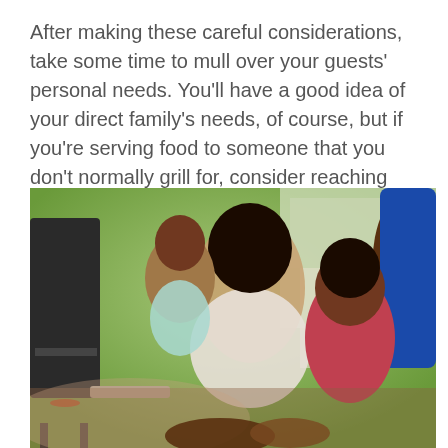After making these careful considerations, take some time to mull over your guests' personal needs. You'll have a good idea of your direct family's needs, of course, but if you're serving food to someone that you don't normally grill for, consider reaching out. They'll appreciate it.
[Figure (photo): A family outdoors at a backyard barbecue. A man is grilling while a woman holds a young girl and another girl stands nearby watching. Green trees and a house are visible in the background.]